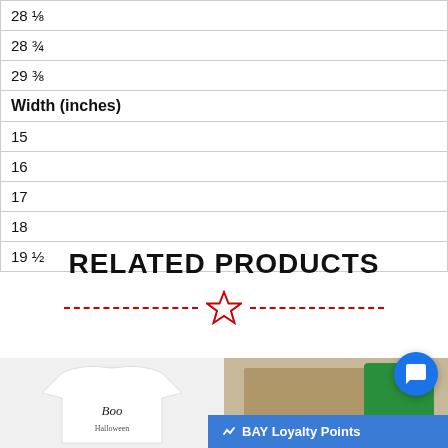| 28 ⅛ |
| 28 ¾ |
| 29 ⅜ |
| Width (inches) |
| 15 |
| 16 |
| 17 |
| 18 |
| 19 ½ |
RELATED PRODUCTS
[Figure (illustration): Decorative divider with red dashed lines and a red outlined star in the center]
[Figure (photo): White t-shirt with Boo Halloween text graphic (partial view)]
[Figure (photo): Product in tan/brown box with green element (partial view)]